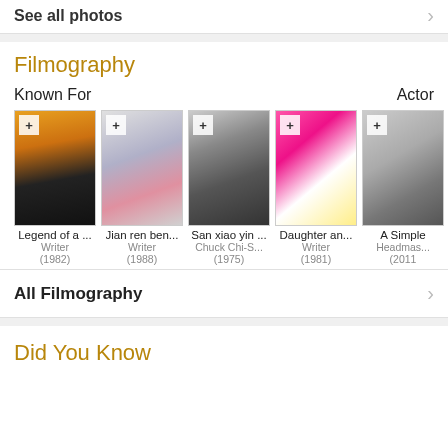See all photos
Filmography
Known For   Actor
[Figure (photo): Movie poster for Legend of a... (1982), martial arts style with orange/yellow and dark colors]
[Figure (photo): Movie poster for Jian ren ben... (1988), grey and pink colorful characters]
[Figure (photo): Movie poster for San xiao yin... (1975), black and white style]
[Figure (photo): Movie poster for Daughter an... (1981), bright pink/magenta with cartoon characters]
[Figure (photo): Movie poster for A Simple... (2011), partially visible grey toned poster]
Legend of a ...
Writer
(1982)
Jian ren ben...
Writer
(1988)
San xiao yin ...
Chuck Chi-S...
(1975)
Daughter an...
Writer
(1981)
A Simple
Headmas...
(2011)
All Filmography
Did You Know